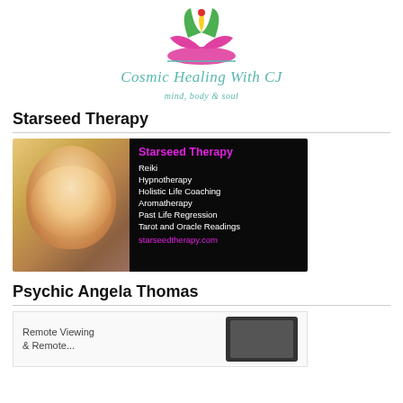[Figure (logo): Cosmic Healing With CJ logo — colorful crown/lotus icon above the site name]
Cosmic Healing With CJ
mind, body & soul
Starseed Therapy
[Figure (photo): Starseed Therapy advertisement: left half shows a smiling blonde woman, right half is black background listing services: Starseed Therapy, Reiki, Hypnotherapy, Holistic Life Coaching, Aromatherapy, Past Life Regression, Tarot and Oracle Readings, starseedtherapy.com]
Psychic Angela Thomas
[Figure (infographic): Psychic Angela Thomas advertisement showing 'Remote Viewing & Remote...' text on left and a tablet/device image on right, light grey background]